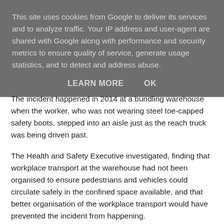This site uses cookies from Google to deliver its services and to analyze traffic. Your IP address and user-agent are shared with Google along with performance and security metrics to ensure quality of service, generate usage statistics, and to detect and address abuse.
LEARN MORE   OK
The incident happened in 2014 at a bundling warehouse when the worker, who was not wearing steel toe-capped safety boots, stepped into an aisle just as the reach truck was being driven past.
The Health and Safety Executive investigated, finding that workplace transport at the warehouse had not been organised to ensure pedestrians and vehicles could circulate safely in the confined space available, and that better organisation of the workplace transport would have prevented the incident from happening.
Royal Mail Group Limited was fined £100,000 and ordered to